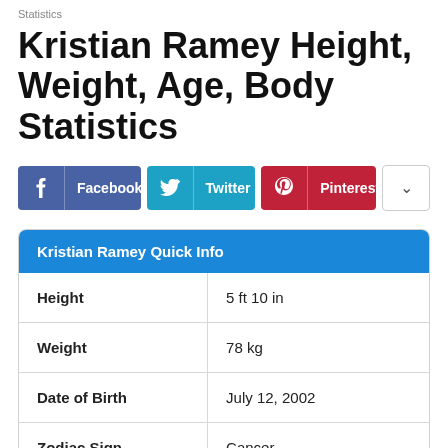Statistics
Kristian Ramey Height, Weight, Age, Body Statistics
[Figure (infographic): Social share buttons for Facebook, Twitter, Pinterest, and a dropdown more button]
| Kristian Ramey Quick Info |  |
| --- | --- |
| Height | 5 ft 10 in |
| Weight | 78 kg |
| Date of Birth | July 12, 2002 |
| Zodiac Sign | Cancer |
| Eye Color | Blue |